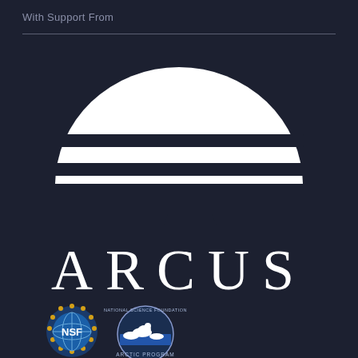With Support From
[Figure (logo): ARCUS logo — a stylized arctic sunrise/igloo shape made of white horizontal bands forming a semicircle, with the word ARCUS in large serif letters below, on a dark navy background. Two organizational badges/logos (NSF and NSF Arctic Program) appear at the bottom left.]